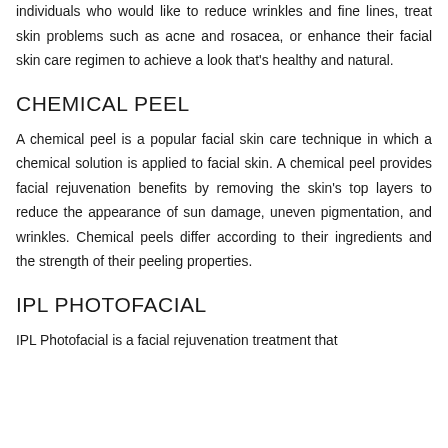individuals who would like to reduce wrinkles and fine lines, treat skin problems such as acne and rosacea, or enhance their facial skin care regimen to achieve a look that's healthy and natural.
CHEMICAL PEEL
A chemical peel is a popular facial skin care technique in which a chemical solution is applied to facial skin. A chemical peel provides facial rejuvenation benefits by removing the skin's top layers to reduce the appearance of sun damage, uneven pigmentation, and wrinkles. Chemical peels differ according to their ingredients and the strength of their peeling properties.
IPL PHOTOFACIAL
IPL Photofacial is a facial rejuvenation treatment that